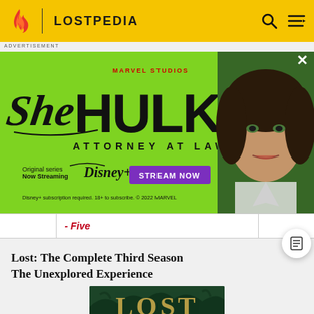LOSTPEDIA
[Figure (screenshot): She-Hulk Attorney at Law advertisement banner on green background with actress photo and Disney+ Stream Now button]
ADVERTISEMENT
|  | - Five |  |
Lost: The Complete Third Season
The Unexplored Experience
[Figure (photo): LOST DVD cover showing the show's title in golden jungle-themed lettering on dark green background]